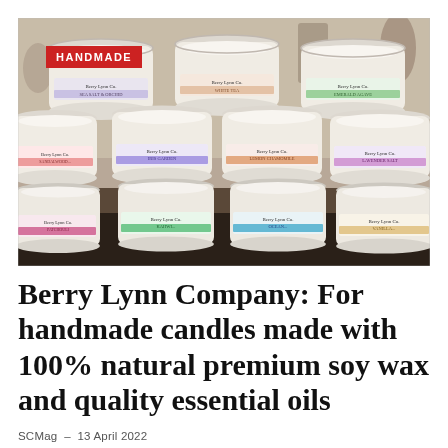[Figure (photo): A display of multiple Berry Lynn Co. candle jars with cream-colored soy wax, arranged in three rows on a dark surface. Each jar has a clear lid and a branded label with different scent names and colored accents. A red 'HANDMADE' badge is overlaid in the top-left corner.]
Berry Lynn Company: For handmade candles made with 100% natural premium soy wax and quality essential oils
SCMag – 13 April 2022